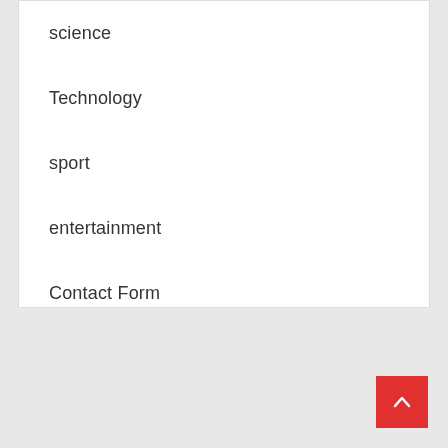science
Technology
sport
entertainment
Contact Form